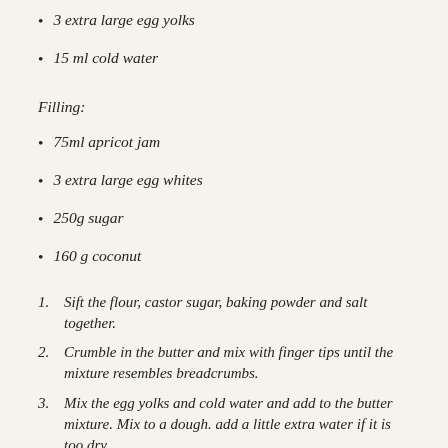3 extra large egg yolks
15 ml cold water
Filling:
75ml apricot jam
3 extra large egg whites
250g sugar
160 g coconut
Sift the flour, castor sugar, baking powder and salt together.
Crumble in the butter and mix with finger tips until the mixture resembles breadcrumbs.
Mix the egg yolks and cold water and add to the butter mixture. Mix to a dough. add a little extra water if it is too dry.